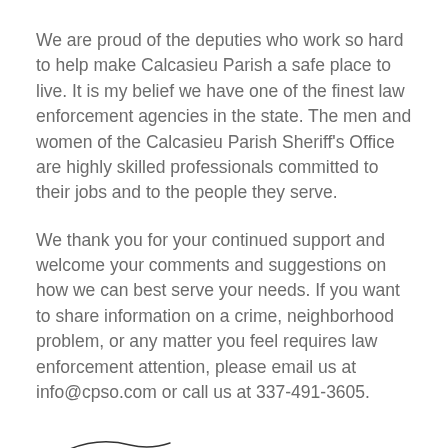We are proud of the deputies who work so hard to help make Calcasieu Parish a safe place to live. It is my belief we have one of the finest law enforcement agencies in the state. The men and women of the Calcasieu Parish Sheriff's Office are highly skilled professionals committed to their jobs and to the people they serve.
We thank you for your continued support and welcome your comments and suggestions on how we can best serve your needs. If you want to share information on a crime, neighborhood problem, or any matter you feel requires law enforcement attention, please email us at info@cpso.com or call us at 337-491-3605.
[Figure (illustration): Handwritten signature of Sheriff Tony Mancuso]
Sheriff Tony Mancuso